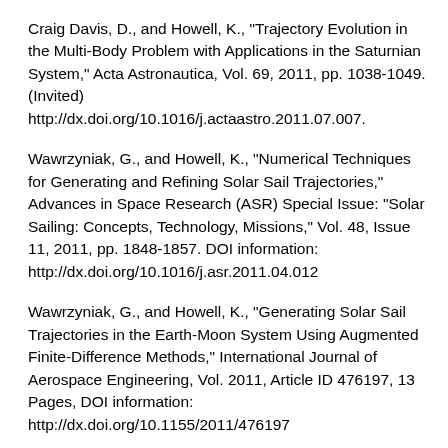Craig Davis, D., and Howell, K., "Trajectory Evolution in the Multi-Body Problem with Applications in the Saturnian System," Acta Astronautica, Vol. 69, 2011, pp. 1038-1049. (Invited) http://dx.doi.org/10.1016/j.actaastro.2011.07.007.
Wawrzyniak, G., and Howell, K., "Numerical Techniques for Generating and Refining Solar Sail Trajectories," Advances in Space Research (ASR) Special Issue: "Solar Sailing: Concepts, Technology, Missions," Vol. 48, Issue 11, 2011, pp. 1848-1857. DOI information: http://dx.doi.org/10.1016/j.asr.2011.04.012
Wawrzyniak, G., and Howell, K., "Generating Solar Sail Trajectories in the Earth-Moon System Using Augmented Finite-Difference Methods," International Journal of Aerospace Engineering, Vol. 2011, Article ID 476197, 13 Pages, DOI information: http://dx.doi.org/10.1155/2011/476197